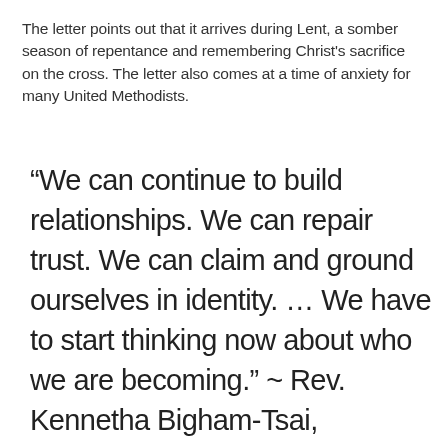The letter points out that it arrives during Lent, a somber season of repentance and remembering Christ's sacrifice on the cross. The letter also comes at a time of anxiety for many United Methodists.
“We can continue to build relationships. We can repair trust. We can claim and ground ourselves in identity. … We have to start thinking now about who we are becoming.” ~ Rev. Kennetha Bigham-Tsai, Michigan